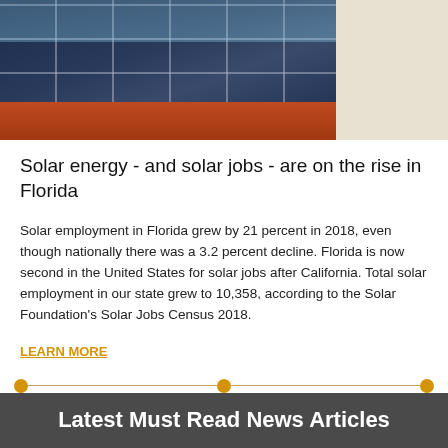[Figure (photo): Worker installing solar panels on a red tile roof, white wall chimney visible on right, blue sky background]
Solar energy - and solar jobs - are on the rise in Florida
Solar employment in Florida grew by 21 percent in 2018, even though nationally there was a 3.2 percent decline. Florida is now second in the United States for solar jobs after California. Total solar employment in our state grew to 10,358, according to the Solar Foundation's Solar Jobs Census 2018.
LEARN MORE
Latest Must Read News Articles
APS admits spending millions in 2014 election of energy regulators
SRP approves rate decrease as directors argue about solar power and batteries